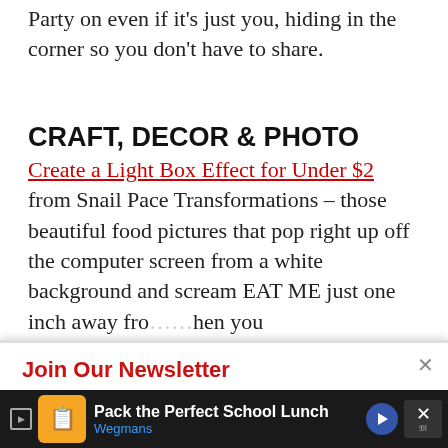Party on even if it's just you, hiding in the corner so you don't have to share.
CRAFT, DECOR & PHOTO
Create a Light Box Effect for Under $2 from Snail Pace Transformations – those beautiful food pictures that pop right up off the computer screen from a white background and scream EAT ME just one inch away fro... when you
POWERED BY SUMO
Join Our Newsletter
Free Delivery! Receive previews of recipes, printables, and other fun news.
Enter your email address
[Figure (screenshot): Advertisement banner: Pack the Perfect School Lunch – Wegmans]